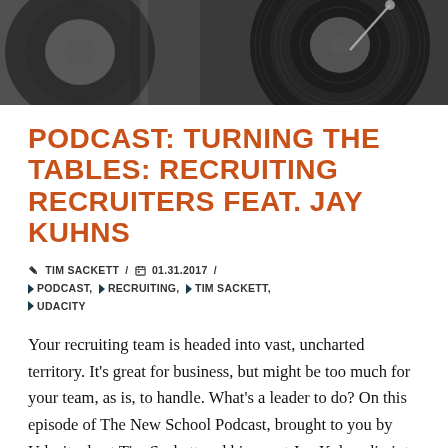[Figure (photo): Black and white close-up photo of vinyl record turntable]
PODCAST: TURNING THE TABLES: RECRUITING RECRUITERS FEAT. JAY KUHNS
✏ TIM SACKETT / 📅 01.31.2017 / 🔖 PODCAST, 🔖 RECRUITING, 🔖 TIM SACKETT, 🔖 UDACITY
Your recruiting team is headed into vast, uncharted territory. It's great for business, but might be too much for your team, as is, to handle. What's a leader to do? On this episode of The New School Podcast, brought to you by Udacity, host Tim Sackett and his guest Jay Kuhns dig into